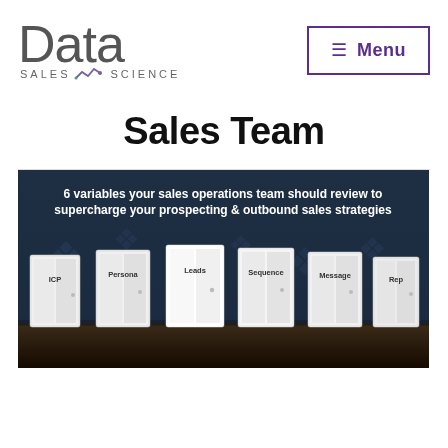[Figure (logo): Data Sales Science logo with large 'Data' text and 'SALES SCIENCE' subtext with a line chart icon]
[Figure (other): Menu button with hamburger icon and 'Menu' text, purple border]
Sales Team
[Figure (photo): Image showing 6 doors labeled ICP, Persona, Leads, Sequence, Message, Rep with text '6 variables your sales operations team should review to supercharge your prospecting & outbound sales strategies']